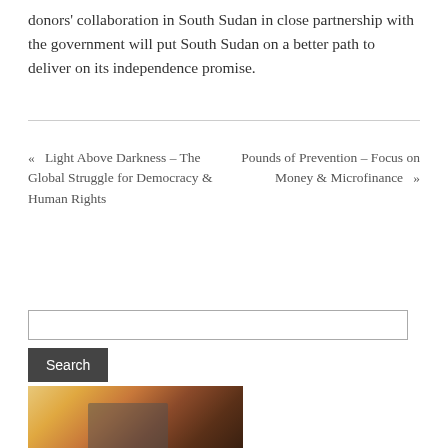donors' collaboration in South Sudan in close partnership with the government will put South Sudan on a better path to deliver on its independence promise.
« Light Above Darkness – The Global Struggle for Democracy & Human Rights     Pounds of Prevention – Focus on Money & Microfinance »
[Figure (other): Search input field and Search button]
[Figure (photo): Partial photo of a person wearing a colorful headscarf (yellow, orange, green, red) and holding a device near their face]